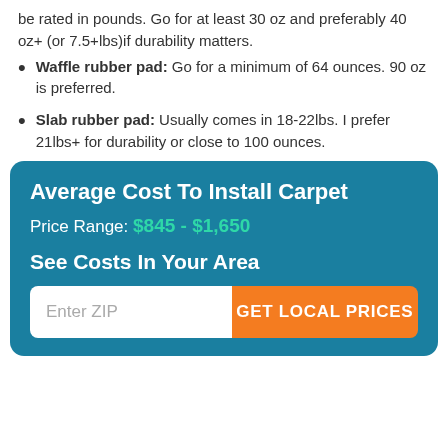be rated in pounds. Go for at least 30 oz and preferably 40 oz+ (or 7.5+lbs)if durability matters.
Waffle rubber pad: Go for a minimum of 64 ounces. 90 oz is preferred.
Slab rubber pad: Usually comes in 18-22lbs. I prefer 21lbs+ for durability or close to 100 ounces.
Average Cost To Install Carpet
Price Range: $845 - $1,650
See Costs In Your Area
Enter ZIP  GET LOCAL PRICES